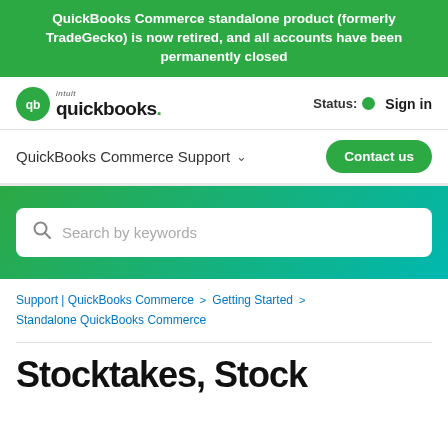QuickBooks Commerce standalone product (formerly TradeGecko) is now retired, and all accounts have been permanently closed
[Figure (logo): QuickBooks intuit logo with green circle and qb icon]
Status: ● Sign in
QuickBooks Commerce Support ∨    Contact us
[Figure (other): Search bar with magnifying glass icon and placeholder text 'Search by keywords' on green gradient background]
Support | QuickBooks Commerce > Getting Started > Standalone QuickBooks Commerce
Stocktakes, Stock